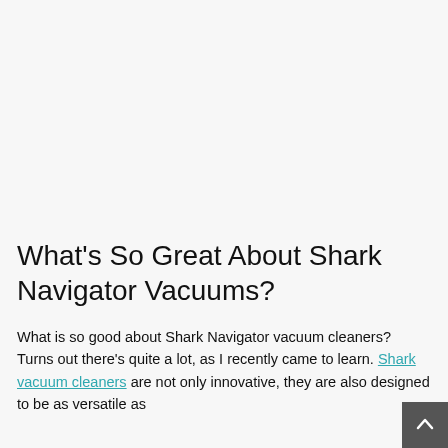What's So Great About Shark Navigator Vacuums?
What is so good about Shark Navigator vacuum cleaners? Turns out there's quite a lot, as I recently came to learn. Shark vacuum cleaners are not only innovative, they are also designed to be as versatile as